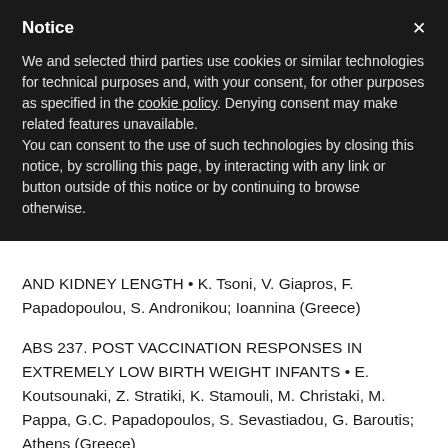Notice
We and selected third parties use cookies or similar technologies for technical purposes and, with your consent, for other purposes as specified in the cookie policy. Denying consent may make related features unavailable.
You can consent to the use of such technologies by closing this notice, by scrolling this page, by interacting with any link or button outside of this notice or by continuing to browse otherwise.
AND KIDNEY LENGTH • K. Tsoni, V. Giapros, F. Papadopoulou, S. Andronikou; Ioannina (Greece)
ABS 237. POST VACCINATION RESPONSES IN EXTREMELY LOW BIRTH WEIGHT INFANTS • E. Koutsounaki, Z. Stratiki, K. Stamouli, M. Christaki, M. Pappa, G.C. Papadopoulos, S. Sevastiadou, G. Baroutis; Athens (Greece)